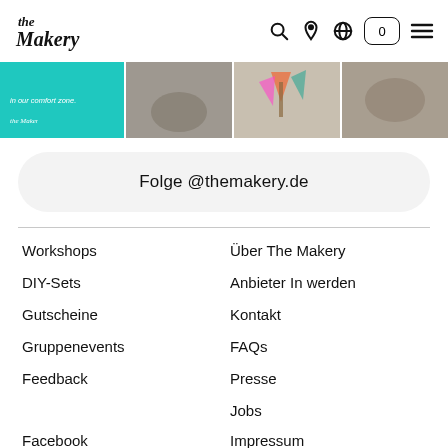the Makery
[Figure (screenshot): Website header navigation with logo 'the Makery' and icons for search, location, globe, cart (0), and hamburger menu]
[Figure (photo): Strip of four images: teal banner with text 'in our comfort zone.', a craft/sand photo, colorful paint/flags photo, and pottery/ceramics photo]
Folge @themakery.de
Workshops
Über The Makery
DIY-Sets
Anbieter In werden
Gutscheine
Kontakt
Gruppenevents
FAQs
Feedback
Presse
Jobs
Facebook
Impressum